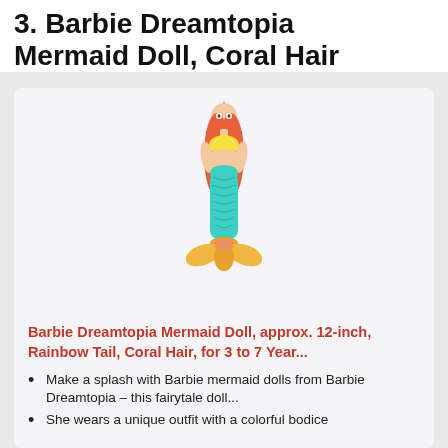3. Barbie Dreamtopia Mermaid Doll, Coral Hair
[Figure (photo): Barbie Dreamtopia Mermaid Doll with coral/orange hair, teal mermaid tail, yellow top, and yellow fins at the bottom. The doll wears a small teal crown.]
Barbie Dreamtopia Mermaid Doll, approx. 12-inch, Rainbow Tail, Coral Hair, for 3 to 7 Year...
Make a splash with Barbie mermaid dolls from Barbie Dreamtopia – this fairytale doll...
She wears a unique outfit with a colorful bodice